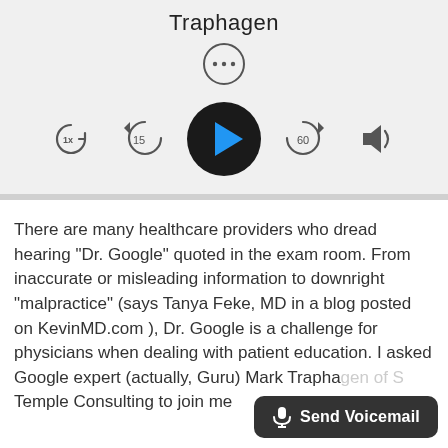Traphagen
[Figure (screenshot): Podcast player UI with more options button (three dots in a circle), playback controls including 1x speed, rewind 15 seconds, play button, skip 60 seconds, and volume button]
There are many healthcare providers who dread hearing “Dr. Google” quoted in the exam room. From inaccurate or misleading information to downright “malpractice” (says Tanya Feke, MD in a blog posted on KevinMD.com ), Dr. Google is a challenge for physicians when dealing with patient education. I asked Google expert (actually, Guru) Mark Trapha... of S... Temple Consulting to join me...